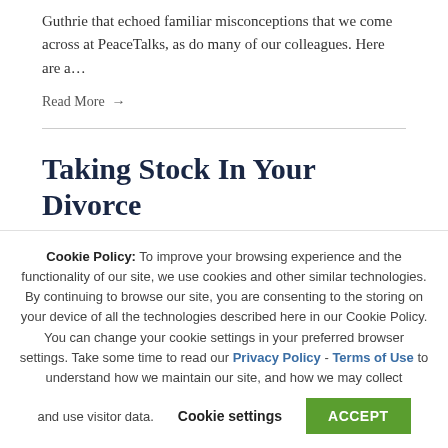Guthrie that echoed familiar misconceptions that we come across at PeaceTalks, as do many of our colleagues. Here are a…
Read More →
Taking Stock In Your Divorce
By Stephanie | December 7, 2018
Cookie Policy: To improve your browsing experience and the functionality of our site, we use cookies and other similar technologies. By continuing to browse our site, you are consenting to the storing on your device of all the technologies described here in our Cookie Policy. You can change your cookie settings in your preferred browser settings. Take some time to read our Privacy Policy - Terms of Use to understand how we maintain our site, and how we may collect and use visitor data.
Cookie settings   ACCEPT